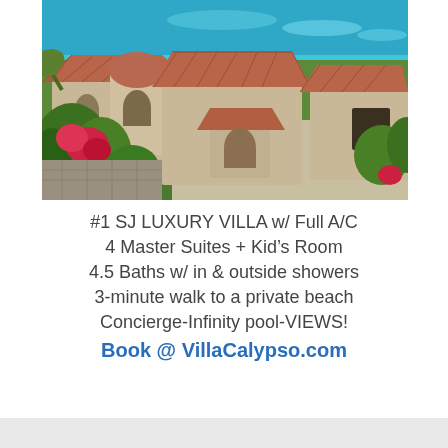[Figure (photo): Aerial/elevated view of a luxury Mediterranean-style villa with terracotta tile roofs, arched windows, lush tropical vegetation with red bougainvillea, a stone-paved driveway, and brilliant turquoise Caribbean ocean in the background.]
#1 SJ LUXURY VILLA w/ Full A/C
4 Master Suites + Kid's Room
4.5 Baths w/ in & outside showers
3-minute walk to a private beach
Concierge-Infinity pool-VIEWS!
Book @ VillaCalypso.com